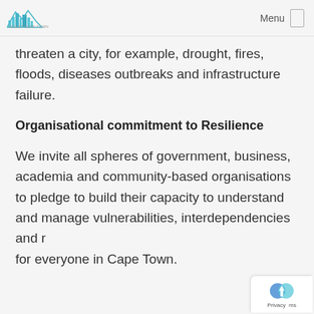Invest Cape Town | Menu
threaten a city, for example, drought, fires, floods, diseases outbreaks and infrastructure failure.
Organisational commitment to Resilience
We invite all spheres of government, business, academia and community-based organisations to pledge to build their capacity to understand and manage vulnerabilities, interdependencies and r... for everyone in Cape Town.